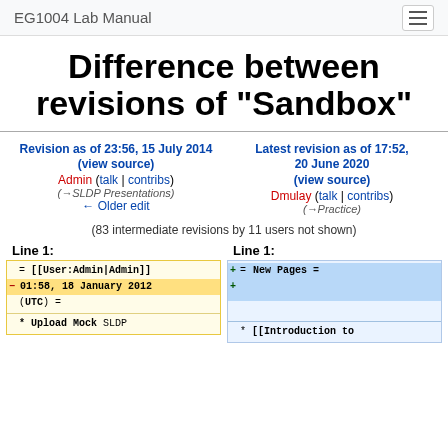EG1004 Lab Manual
Difference between revisions of "Sandbox"
Revision as of 23:56, 15 July 2014 (view source)
Admin (talk | contribs)
(→SLDP Presentations)
← Older edit
Latest revision as of 17:52, 20 June 2020 (view source)
Dmulay (talk | contribs)
(→Practice)
(83 intermediate revisions by 11 users not shown)
Line 1:
Line 1:
| = [[User:Admin|Admin]] 01:58, 18 January 2012 (UTC) = |
| * Upload Mock SLDP |
| = New Pages = |
| * [[Introduction to |